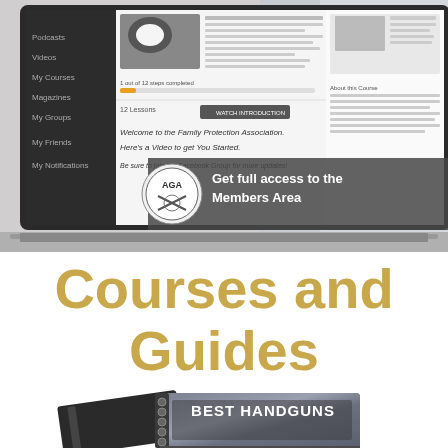[Figure (screenshot): Screenshot of a laptop showing a website membership area interface with sidebar navigation (Podcasts, Videos, My Courses, Magazines, My Groups, My Friends, My Notifications), course content on the right, and an AGA badge with overlay text 'Get full access to the Members Area']
Courses and Guides
[Figure (photo): Bottom portion showing what appears to be spiral-bound books/guides with metallic cover text reading 'BEST HANDGUNS' partially visible]